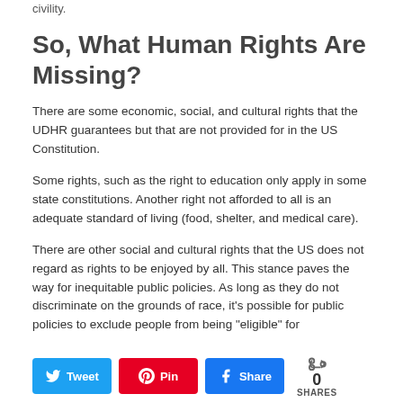civility.
So, What Human Rights Are Missing?
There are some economic, social, and cultural rights that the UDHR guarantees but that are not provided for in the US Constitution.
Some rights, such as the right to education only apply in some state constitutions. Another right not afforded to all is an adequate standard of living (food, shelter, and medical care).
There are other social and cultural rights that the US does not regard as rights to be enjoyed by all. This stance paves the way for inequitable public policies. As long as they do not discriminate on the grounds of race, it's possible for public policies to exclude people from being "eligible" for
[Figure (infographic): Social share bar with Twitter, Pinterest, and Facebook buttons, a share icon, count of 0, and SHARES label]